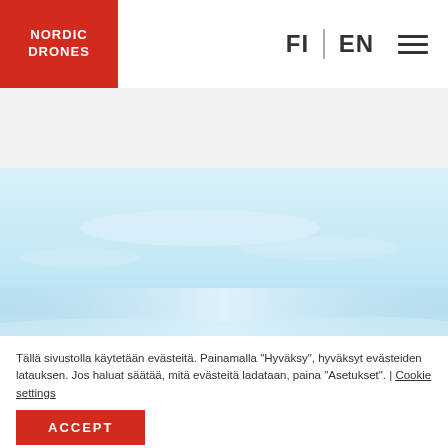[Figure (logo): Nordic Drones logo — white text on red square background]
FI | EN ≡
[Figure (photo): Light blue sky aerial/drone photograph with faint horizon and snow/ice landscape below]
Tällä sivustolla käytetään evästeitä. Painamalla "Hyväksy", hyväksyt evästeiden latauksen. Jos haluat säätää, mitä evästeitä ladataan, paina "Asetukset". | Cookie settings
ACCEPT